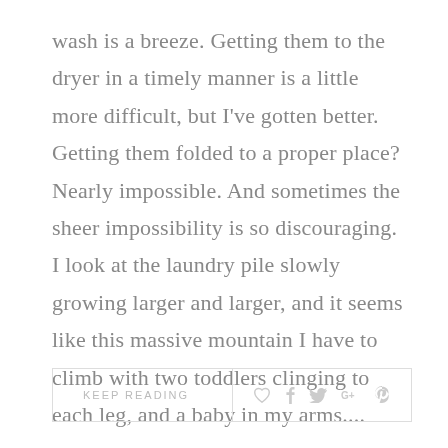wash is a breeze. Getting them to the dryer in a timely manner is a little more difficult, but I've gotten better. Getting them folded to a proper place? Nearly impossible. And sometimes the sheer impossibility is so discouraging. I look at the laundry pile slowly growing larger and larger, and it seems like this massive mountain I have to climb with two toddlers clinging to each leg, and a baby in my arms....
KEEP READING